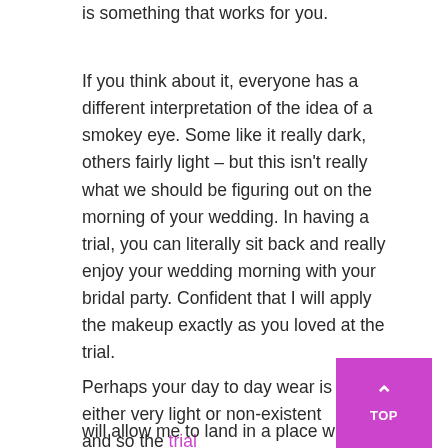is something that works for you.
If you think about it, everyone has a different interpretation of the idea of a smokey eye. Some like it really dark, others fairly light – but this isn't really what we should be figuring out on the morning of your wedding. In having a trial, you can literally sit back and really enjoy your wedding morning with your bridal party. Confident that I will apply the makeup exactly as you loved at the trial.
Perhaps your day to day wear is either very light or non-existent and so the trial will allow me to land in a place where the